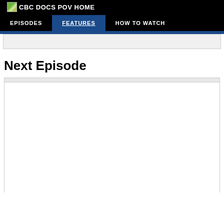CBC DOCS POV HOME
EPISODES  FEATURES  HOW TO WATCH
Next Episode
[Figure (other): Empty video player placeholder with light gray top bar and white content area, bordered by a thin gray border]